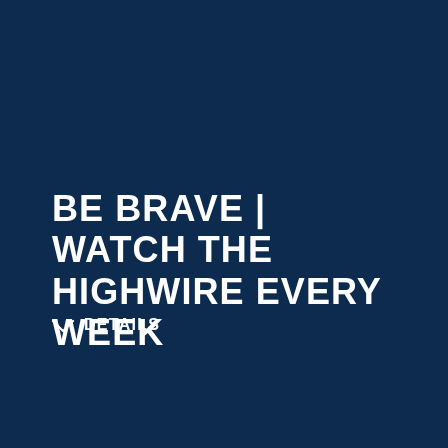BE BRAVE | WATCH THE HIGHWIRE EVERY WEEK
∨  DETAILS